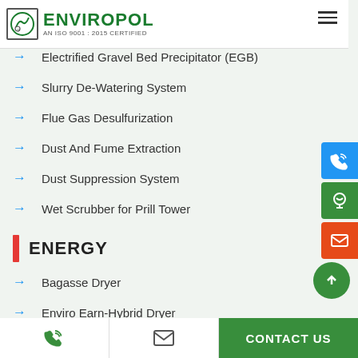[Figure (logo): Enviropol logo with ISO 9001:2015 certified text]
Electrified Gravel Bed Precipitator (EGB)
Slurry De-Watering System
Flue Gas Desulfurization
Dust And Fume Extraction
Dust Suppression System
Wet Scrubber for Prill Tower
ENERGY
Bagasse Dryer
Enviro Earn-Hybrid Dryer
CONTACT